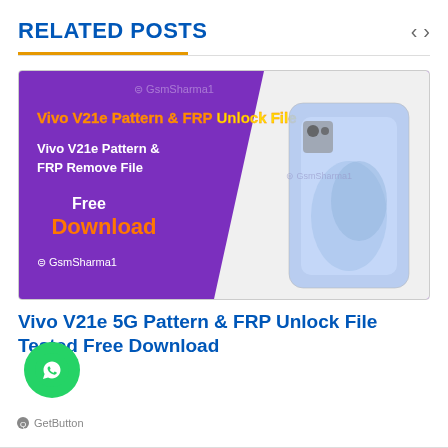RELATED POSTS
[Figure (illustration): Promotional banner for Vivo V21e Pattern & FRP Unlock File with purple/white background showing the phone and GsmSharma1 branding. Text includes 'Vivo V21e Pattern & FRP Unlock File' in orange/yellow, 'Vivo V21e Pattern & FRP Remove File' in white, 'Free Download' with Download in orange, and GsmSharma1 logo.]
Vivo V21e 5G Pattern & FRP Unlock File Tested Free Download
[Figure (logo): WhatsApp button - green circle with white WhatsApp phone icon]
GetButton